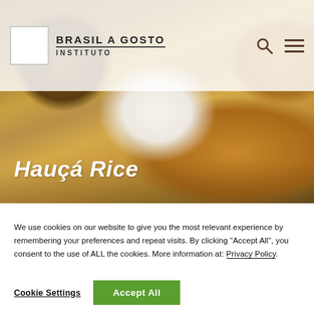BRASIL A GOSTO INSTITUTO
[Figure (photo): Hero food photograph showing Hauçá Rice dish: a dome of white rice topped with shrimp in golden sauce, surrounded by other Brazilian dishes]
Hauçá Rice
We use cookies on our website to give you the most relevant experience by remembering your preferences and repeat visits. By clicking "Accept All", you consent to the use of ALL the cookies. More information at: Privacy Policy.
Cookie Settings  Accept All